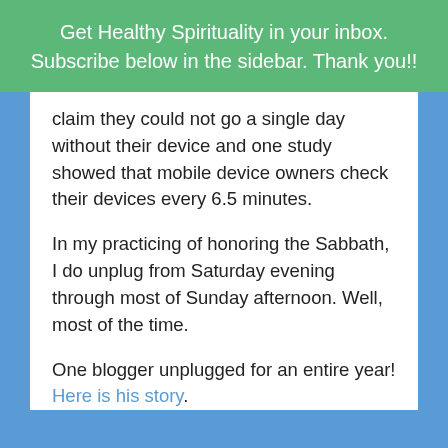Get Healthy Spirituality in your inbox. Subscribe below in the sidebar. Thank you!!
claim they could not go a single day without their device and one study showed that mobile device owners check their devices every 6.5 minutes.
In my practicing of honoring the Sabbath, I do unplug from Saturday evening through most of Sunday afternoon. Well, most of the time.
One blogger unplugged for an entire year! Here is his story.
Unplugging – from any screen device, especially when it becomes addictive